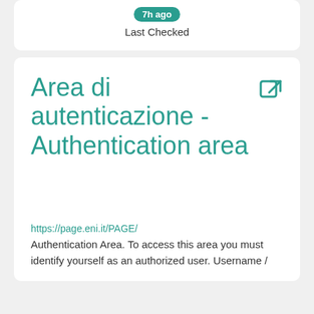7h ago
Last Checked
Area di autenticazione - Authentication area
https://page.eni.it/PAGE/
Authentication Area. To access this area you must identify yourself as an authorized user. Username /